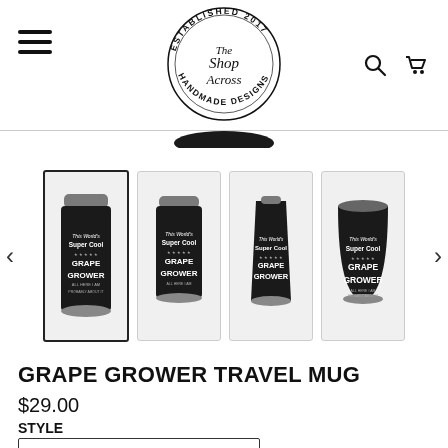[Figure (logo): The Shop Across circular logo - Established 2017, Handmade Designs, with cursive script in center]
[Figure (photo): Four black travel mugs/tumblers with 'Super Cool Grape Grower' engraving, shown in different styles: tall tumbler, standard tumbler, pilsner glass, stemless wine cup. First thumbnail is selected with border.]
GRAPE GROWER TRAVEL MUG
$29.00
STYLE